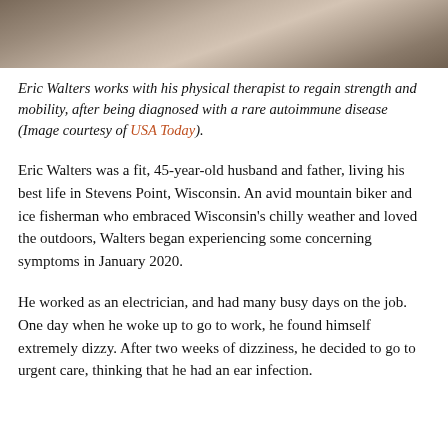[Figure (photo): Photo of Eric Walters working with his physical therapist, partial view showing lower body/floor area]
Eric Walters works with his physical therapist to regain strength and mobility, after being diagnosed with a rare autoimmune disease (Image courtesy of USA Today).
Eric Walters was a fit, 45-year-old husband and father, living his best life in Stevens Point, Wisconsin. An avid mountain biker and ice fisherman who embraced Wisconsin's chilly weather and loved the outdoors, Walters began experiencing some concerning symptoms in January 2020.
He worked as an electrician, and had many busy days on the job. One day when he woke up to go to work, he found himself extremely dizzy. After two weeks of dizziness, he decided to go to urgent care, thinking that he had an ear infection.